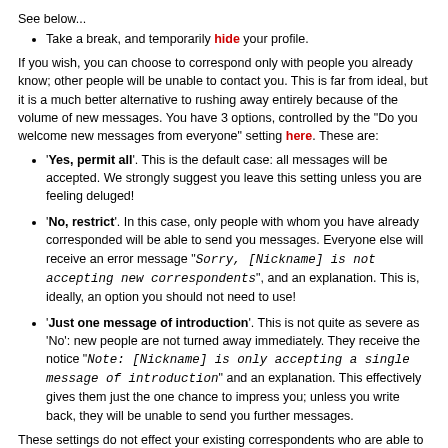See below...
Take a break, and temporarily hide your profile.
If you wish, you can choose to correspond only with people you already know; other people will be unable to contact you. This is far from ideal, but it is a much better alternative to rushing away entirely because of the volume of new messages. You have 3 options, controlled by the "Do you welcome new messages from everyone" setting here. These are:
'Yes, permit all'. This is the default case: all messages will be accepted. We strongly suggest you leave this setting unless you are feeling deluged!
'No, restrict'. In this case, only people with whom you have already corresponded will be able to send you messages. Everyone else will receive an error message "Sorry, [Nickname] is not accepting new correspondents", and an explanation. This is, ideally, an option you should not need to use!
'Just one message of introduction'. This is not quite as severe as 'No': new people are not turned away immediately. They receive the notice "Note: [Nickname] is only accepting a single message of introduction" and an explanation. This effectively gives them just the one chance to impress you; unless you write back, they will be unable to send you further messages.
These settings do not effect your existing correspondents who are able to write to you as normal. If you are receiving messages from them, and are not interested, you should decline.